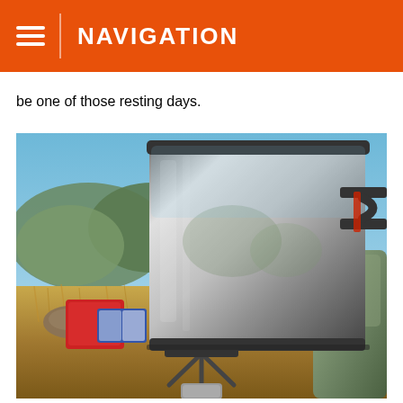NAVIGATION
be one of those resting days.
[Figure (photo): A stainless steel camping pot sitting on a portable backpacking stove with legs extended, outdoors with desert scrubland, rocks, mountains, and a blue sky in the background. A red tent or bag and blue-white gear are visible in the background.]